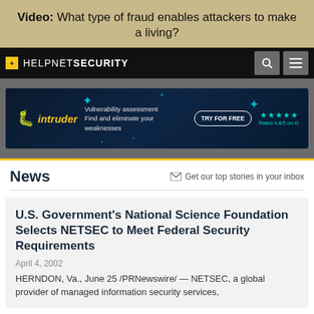Video: What type of fraud enables attackers to make a living?
[Figure (screenshot): HelpNetSecurity navigation bar with logo, search icon, and menu icon on black background]
[Figure (screenshot): Intruder advertisement banner: Vulnerability assessment - Find and eliminate your weaknesses. TRY FOR FREE. Rated 4.8/5 on G2.]
News
Get our top stories in your inbox
U.S. Government's National Science Foundation Selects NETSEC to Meet Federal Security Requirements
April 4, 2002
HERNDON, Va., June 25 /PRNewswire/ — NETSEC, a global provider of managed information security services,